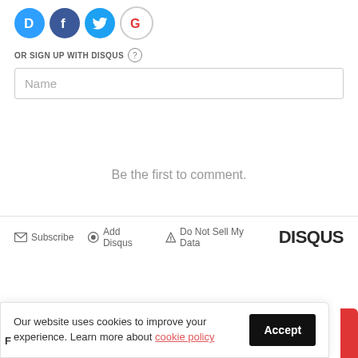[Figure (illustration): Social login icons: Disqus (blue circle with D), Facebook (dark blue circle with f), Twitter (light blue circle with bird), Google (white circle with G)]
OR SIGN UP WITH DISQUS ?
Name
Be the first to comment.
Subscribe  Add Disqus  Do Not Sell My Data  DISQUS
Our website uses cookies to improve your experience. Learn more about cookie policy
Accept